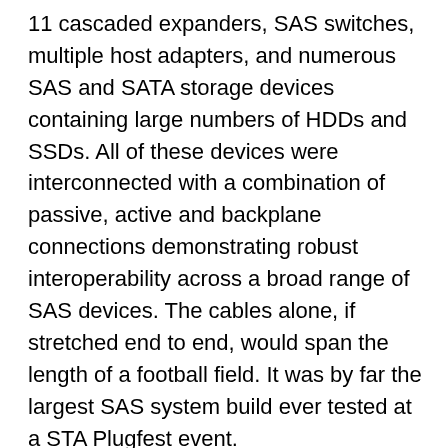11 cascaded expanders, SAS switches, multiple host adapters, and numerous SAS and SATA storage devices containing large numbers of HDDs and SSDs. All of these devices were interconnected with a combination of passive, active and backplane connections demonstrating robust interoperability across a broad range of SAS devices. The cables alone, if stretched end to end, would span the length of a football field. It was by far the largest SAS system build ever tested at a STA Plugfest event.
This build was notable for a number of reasons. First, it demonstrated the systems' wide-scale interoperability across multiple SAS devices and numerous vendors. Second, through the process of mixing a variety of interconnects, the build demonstrated the versatility and robustness of the SAS ecosystem. And finally, by successfully running large configurations at active cable distances, the build demonstrated the margin of safety